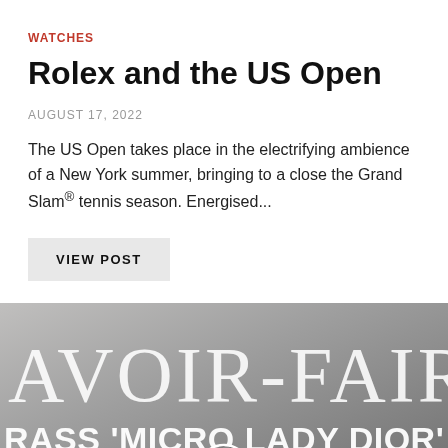WATCHES
Rolex and the US Open
AUGUST 17, 2022
The US Open takes place in the electrifying ambience of a New York summer, bringing to a close the Grand Slam® tennis season. Energised...
VIEW POST
[Figure (screenshot): Video thumbnail showing text 'AVOIR-FAIR' in large white serif letters and 'RASS 'MICRO LADY DIOR'' in white bold text over a dark grey background image, with a circular play button at the bottom center.]